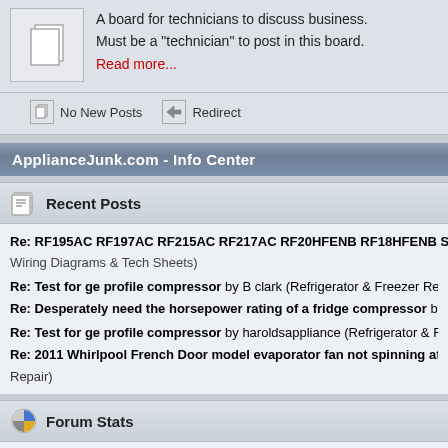A board for technicians to discuss business. Must be a "technician" to post in this board. Read more...
No New Posts   Redirect
ApplianceJunk.com - Info Center
Recent Posts
Re: RF195AC RF197AC RF215AC RF217AC RF20HFENB RF18HFENB Samsung (Wiring Diagrams & Tech Sheets)
Re: Test for ge profile compressor by B clark (Refrigerator & Freezer Repair)
Re: Desperately need the horsepower rating of a fridge compressor by 100 td
Re: Test for ge profile compressor by haroldsappliance (Refrigerator & Freezer Repair)
Re: 2011 Whirlpool French Door model evaporator fan not spinning after repl... Repair)
Forum Stats
117955 Posts in 21613 Topics by 53299 Members. Latest Member: Ptcrai
Latest Post: "Re: RF195AC RF197AC RF2..." ( August 19, 2022, 03:18:55
View the most recent posts on the forum.
[More Stats]